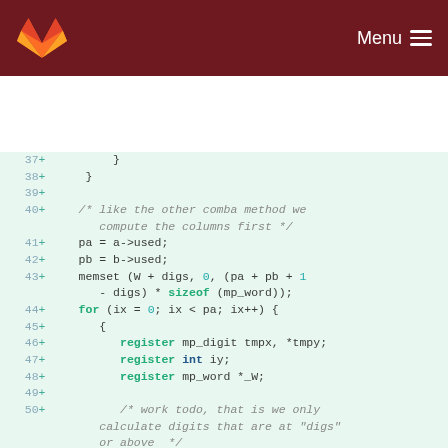Menu
[Figure (screenshot): GitLab source code diff viewer showing C code lines 37-52 with added lines (+) highlighted in green. Code shows comba multiplication method implementation including memset, for loop, and register variable declarations.]